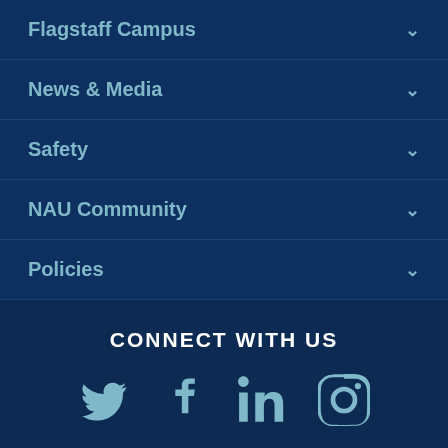Flagstaff Campus
News & Media
Safety
NAU Community
Policies
CONNECT WITH US
[Figure (other): Social media icons: Twitter, Facebook, LinkedIn, Instagram]
Back to top